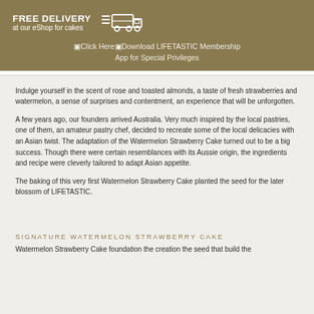FREE DELIVERY at our eShop for cakes
🔲Click Here🔲Download LIFETASTIC Membership App for Special Privileges
Indulge yourself in the scent of rose and toasted almonds, a taste of fresh strawberries and watermelon, a sense of surprises and contentment, an experience that will be unforgotten.
A few years ago, our founders arrived Australia. Very much inspired by the local pastries, one of them, an amateur pastry chef, decided to recreate some of the local delicacies with an Asian twist. The adaptation of the Watermelon Strawberry Cake turned out to be a big success. Though there were certain resemblances with its Aussie origin, the ingredients and recipe were cleverly tailored to adapt Asian appetite.
The baking of this very first Watermelon Strawberry Cake planted the seed for the later blossom of LIFETASTIC.
SIGNATURE WATERMELON STRAWBERRY CAKE
Watermelon Strawberry Cake foundation the creation the seed that build the...